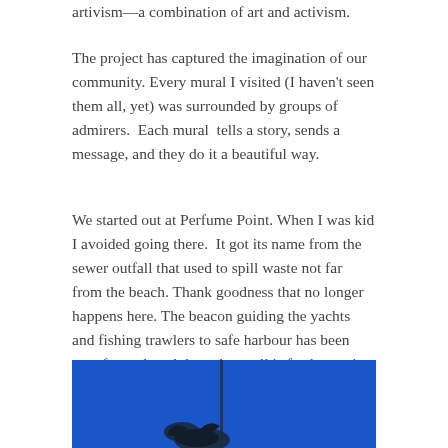artivism—a combination of art and activism.
The project has captured the imagination of our community. Every mural I visited (I haven't seen them all, yet) was surrounded by groups of admirers.  Each mural  tells a story, sends a message, and they do it a beautiful way.
We started out at Perfume Point. When I was kid I avoided going there.  It got its name from the sewer outfall that used to spill waste not far from the beach. Thank goodness that no longer happens here. The beacon guiding the yachts and fishing trawlers to safe harbour has been transformed, and the only smell is fresh sea air.
[Figure (photo): Photograph with a bright blue background showing what appears to be a bird or similar silhouette figure at the bottom, partially cropped.]